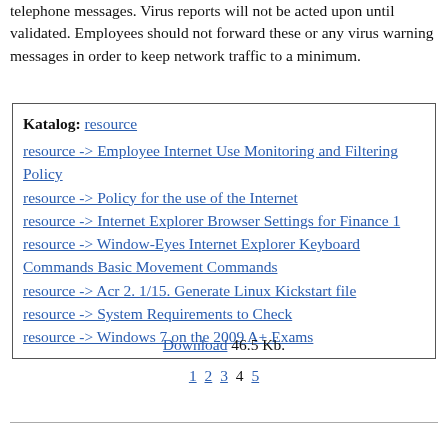telephone messages. Virus reports will not be acted upon until validated. Employees should not forward these or any virus warning messages in order to keep network traffic to a minimum.
Katalog: resource
resource -> Employee Internet Use Monitoring and Filtering Policy
resource -> Policy for the use of the Internet
resource -> Internet Explorer Browser Settings for Finance 1
resource -> Window-Eyes Internet Explorer Keyboard Commands Basic Movement Commands
resource -> Acr 2. 1/15. Generate Linux Kickstart file
resource -> System Requirements to Check
resource -> Windows 7 on the 2009 A+ Exams
Download 46.5 Kb.
1 2 3 4 5